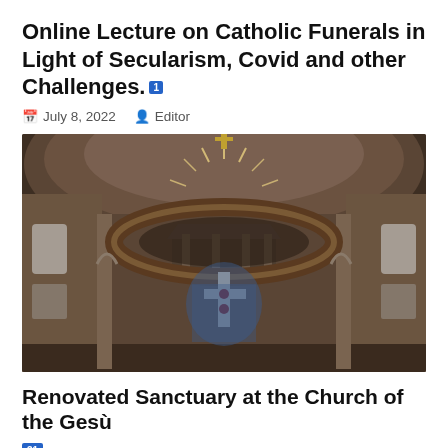Online Lecture on Catholic Funerals in Light of Secularism, Covid and other Challenges. [1]
July 8, 2022   Editor
[Figure (photo): Interior of the renovated Sanctuary at the Church of the Gesù — ornate baroque dome with frescoes, a large circular chandelier/crown structure, and a cross in the foreground.]
Renovated Sanctuary at the Church of the Gesù
31